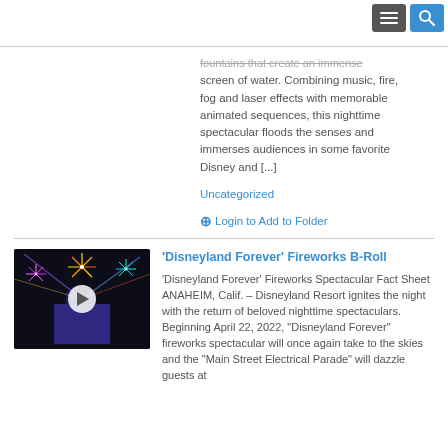[Menu and Search buttons]
fountains that create an immense screen of water. Combining music, fire, fog and laser effects with memorable animated sequences, this nighttime spectacular floods the senses and immerses audiences in some favorite Disney and [...]
Uncategorized
Login to Add to Folder
[Figure (photo): Fireworks over Disneyland castle at night with colorful laser beams, video thumbnail with play button]
'Disneyland Forever' Fireworks B-Roll
'Disneyland Forever' Fireworks Spectacular Fact Sheet ANAHEIM, Calif. – Disneyland Resort ignites the night with the return of beloved nighttime spectaculars. Beginning April 22, 2022, "Disneyland Forever" fireworks spectacular will once again take to the skies and the "Main Street Electrical Parade" will dazzle guests at